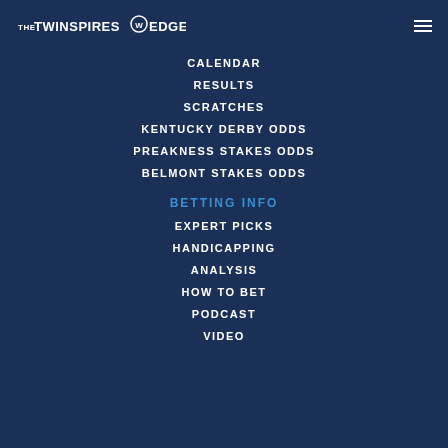THE TWINSPIRES EDGE (logo)
CALENDAR
RESULTS
SCRATCHES
KENTUCKY DERBY ODDS
PREAKNESS STAKES ODDS
BELMONT STAKES ODDS
BETTING INFO
EXPERT PICKS
HANDICAPPING
ANALYSIS
HOW TO BET
PODCAST
VIDEO